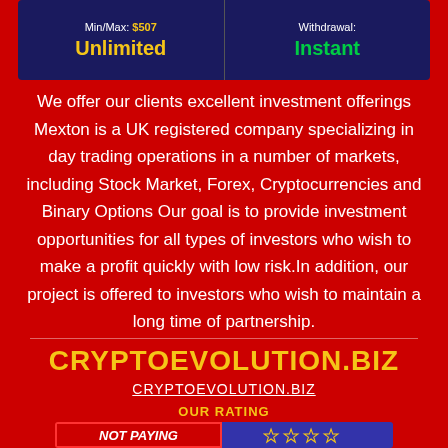| Min/Max | Withdrawal |
| --- | --- |
| $507 / Unlimited | Instant |
We offer our clients excellent investment offerings Mexton is a UK registered company specializing in day trading operations in a number of markets, including Stock Market, Forex, Cryptocurrencies and Binary Options Our goal is to provide investment opportunities for all types of investors who wish to make a profit quickly with low risk.In addition, our project is offered to investors who wish to maintain a long time of partnership.
CRYPTOEVOLUTION.BIZ
CRYPTOEVOLUTION.BIZ
OUR RATING
[Figure (infographic): Rating bar with NOT PAYING label on red background and 4 empty stars on blue background]